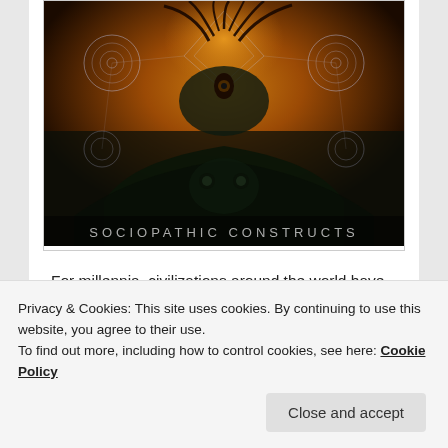[Figure (illustration): Album cover artwork for 'Sociopathic Constructs' — a dark fantasy illustration featuring a monstrous creature with tentacles against a fiery orange sky, geometric/sacred geometry patterns overlaid, with the text 'SOCIOPATHIC CONSTRUCTS' displayed at the bottom of the image.]
For millennia, civilizations around the world have passed on the harrowing folklore of mermaids for generations. The chilling tales of these murderous sirens luring unsuspecting sailors to a watery grave
Privacy & Cookies: This site uses cookies. By continuing to use this website, you agree to their use.
To find out more, including how to control cookies, see here: Cookie Policy
new album, Sociopathic Constructs (Metal Blade